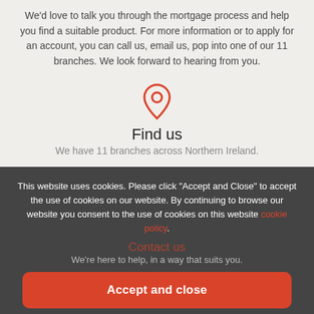We'd love to talk you through the mortgage process and help you find a suitable product. For more information or to apply for an account, you can call us, email us, pop into one of our 11 branches. We look forward to hearing from you.
[Figure (illustration): Location pin map icon in red/coral color]
Find us
We have 11 branches across Northern Ireland.
Branch Finder
This website uses cookies. Please click "Accept and Close" to accept the use of cookies on our website. By continuing to browse our website you consent to the use of cookies on this website cookie policy.
Contact us
We're here to help, in a way that suits you.
Accept and close